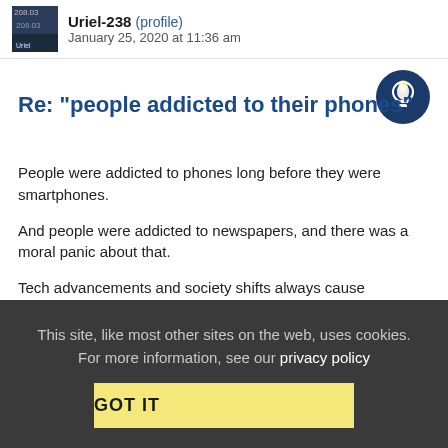Uriel-238 (profile)   January 25, 2020 at 11:36 am
Re: "people addicted to their phones"
People were addicted to phones long before they were smartphones.
And people were addicted to newspapers, and there was a moral panic about that.
Tech advancements and society shifts always cause disruption and yes, there are always drawbacks. Less the skull horns or the brain damage and more the increases of phone-related driving accidents, waves of phone theft, malware-in-apps and so on.
This site, like most other sites on the web, uses cookies. For more information, see our privacy policy  GOT IT